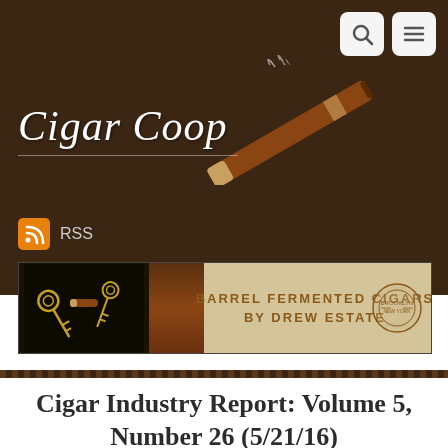[Figure (logo): Cigar Coop website header with logo (cursive text 'Cigar Coop' and cigar illustration with smoke) on dark brown background, with search and menu icons in top right, RSS icon/link below logo, and a Drew Estate Barrel Fermented Cigars advertisement banner]
Cigar Industry Report: Volume 5, Number 26 (5/21/16)
May 21, 2016  William Cooper  Cigar Industry Report, Cigar News  No Comments  Cigar Coop, Cigar Industry Report, Cigar Wrap,